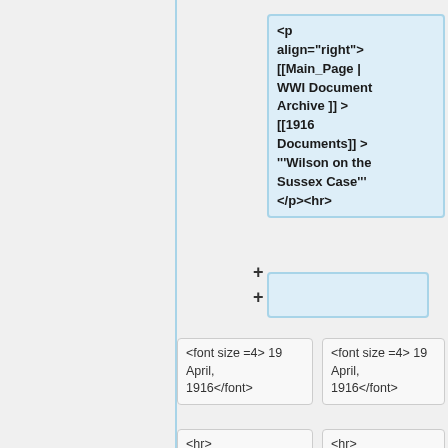[Figure (screenshot): Wiki diff editor interface showing code boxes and comparison columns. Left panel is gray. Right side shows a blue highlighted code box with wiki markup: <p align="right"> [[Main_Page | WWI Document Archive ]] > [[1916 Documents]] > '''Wilson on the Sussex Case''' </p><hr>. Below are two columns comparing Line 30 and Line 32 with code boxes showing <font size=4> 19 April, 1916</font>, <hr>, and nation, to our sense of duty as...]